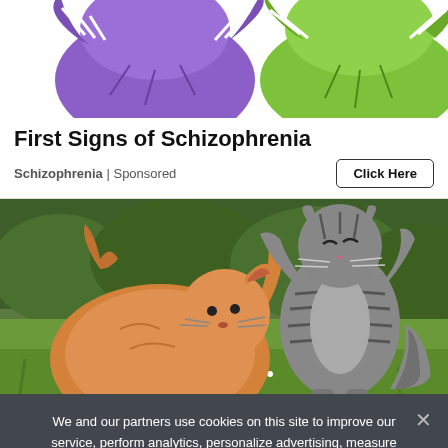[Figure (illustration): Cartoon illustration of two stylized animals (purple and green) appearing to fight or spar, top portion of ad banner]
First Signs of Schizophrenia
Schizophrenia | Sponsored
Click Here
[Figure (photo): Photo of two cats fighting outdoors on green grass, one orange fluffy cat and one grey tabby cat standing on hind legs]
We and our partners use cookies on this site to improve our service, perform analytics, personalize advertising, measure advertising performance, and remember website preferences.
Ok